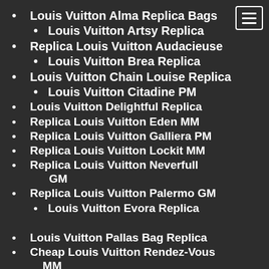Louis Vuitton Alma Replica Bags
Louis Vuitton Artsy Replica
Replica Louis Vuitton Audacieuse
Louis Vuitton Brea Replica
Louis Vuitton Chain Louise Replica
Louis Vuitton Citadine PM
Louis Vuitton Delightful Replica
Replica Louis Vuitton Eden MM
Replica Louis Vuitton Galliera PM
Replica Louis Vuitton Lockit MM
Replica Louis Vuitton Neverfull GM
Replica Louis Vuitton Palermo GM
Louis Vuitton Evora Replica
Louis Vuitton Pallas Bag Replica
Cheap Louis Vuitton Rendez-Vous MM